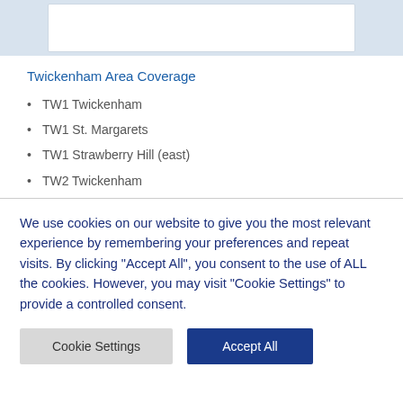Twickenham Area Coverage
TW1 Twickenham
TW1 St. Margarets
TW1 Strawberry Hill (east)
TW2 Twickenham
We use cookies on our website to give you the most relevant experience by remembering your preferences and repeat visits. By clicking "Accept All", you consent to the use of ALL the cookies. However, you may visit "Cookie Settings" to provide a controlled consent.
Cookie Settings | Accept All